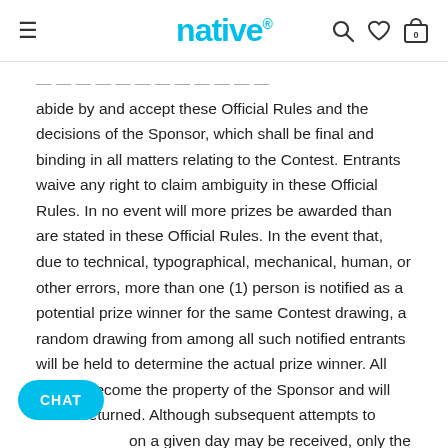native
abide by and accept these Official Rules and the decisions of the Sponsor, which shall be final and binding in all matters relating to the Contest. Entrants waive any right to claim ambiguity in these Official Rules. In no event will more prizes be awarded than are stated in these Official Rules. In the event that, due to technical, typographical, mechanical, human, or other errors, more than one (1) person is notified as a potential prize winner for the same Contest drawing, a random drawing from among all such notified entrants will be held to determine the actual prize winner. All entries become the property of the Sponsor and will not be returned. Although subsequent attempts to on a given day may be received, only the first lete entry received from a particular entrant will